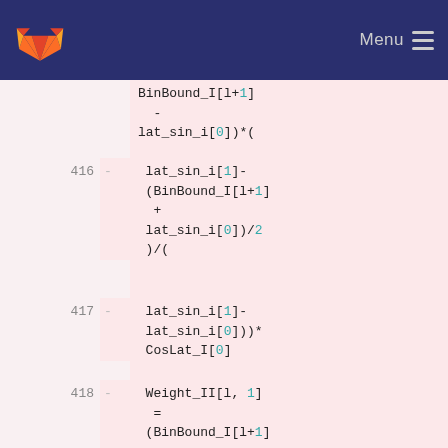Menu
BinBound_I[l+1]
  -
lat_sin_i[0])*(
416 - lat_sin_i[1]-(BinBound_I[l+1] + lat_sin_i[0])/2)/(
417 - lat_sin_i[1]-lat_sin_i[0]))*CosLat_I[0]
418 - Weight_II[l, 1] = (BinBound_I[l+1] - lat_sin_i[0])*